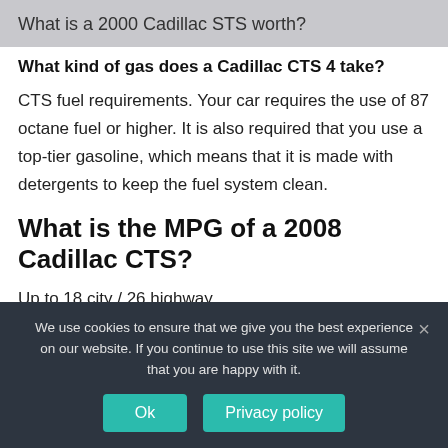What is a 2000 Cadillac STS worth?
What kind of gas does a Cadillac CTS 4 take?
CTS fuel requirements. Your car requires the use of 87 octane fuel or higher. It is also required that you use a top-tier gasoline, which means that it is made with detergents to keep the fuel system clean.
What is the MPG of a 2008 Cadillac CTS?
Up to 18 city / 26 highway
2008 Cadillac CTS/MPG
We use cookies to ensure that we give you the best experience on our website. If you continue to use this site we will assume that you are happy with it.